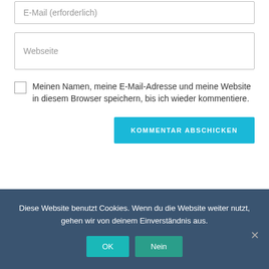E-Mail (erforderlich)
Webseite
Meinen Namen, meine E-Mail-Adresse und meine Website in diesem Browser speichern, bis ich wieder kommentiere.
KOMMENTAR ABSCHICKEN
Diese Website benutzt Cookies. Wenn du die Website weiter nutzt, gehen wir von deinem Einverständnis aus.
OK
Nein